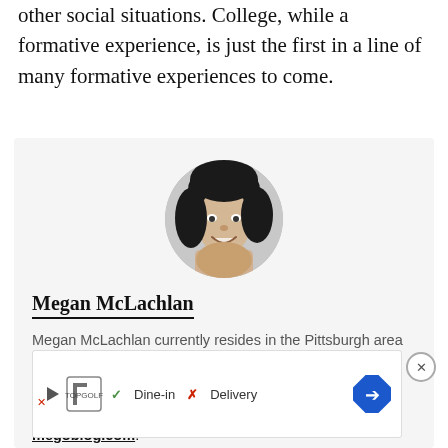other social situations. College, while a formative experience, is just the first in a line of many formative experiences to come.
[Figure (photo): Circular black and white portrait photo of Megan McLachlan, a woman with dark hair, smiling]
Megan McLachlan
Megan McLachlan currently resides in the Pittsburgh area where she freelance writes, drinks coffee, and obsesses over popular culture. She also writes for this [site] and can be found at megoblog.com.
megoblog.com.